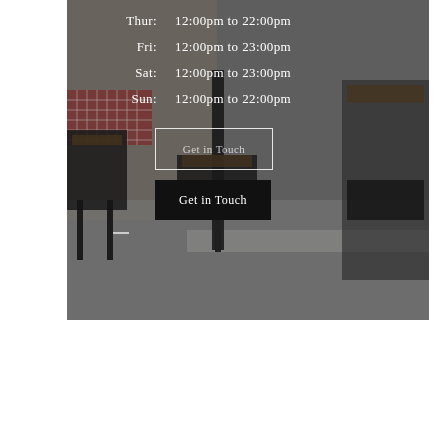[Figure (photo): Outdoor café scene with black metal chairs and wooden tables on a cobblestone/paved area. A red and white checkered tablecloth is visible on the left. The background shows a stone wall.]
Thur:  12:00pm to 22:00pm
Fri:   12:00pm to 23:00pm
Sat:   12:00pm to 23:00pm
Sun:   12:00pm to 22:00pm
Get in Touch
Get in Touch